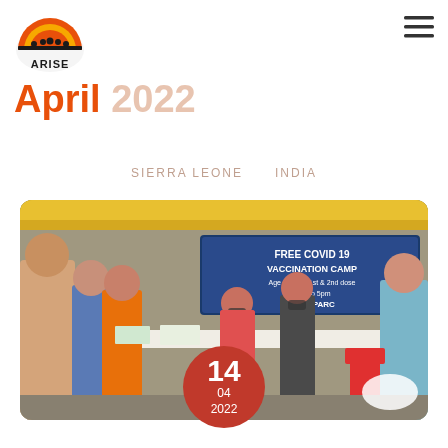[Figure (logo): ARISE organization logo — circular emblem with orange/yellow sunrise and silhouette of people, with text ARISE below]
April 2022
SIERRA LEONE    INDIA
[Figure (photo): Photo of a Free COVID-19 Vaccination Camp event in India. People wearing masks are lined up at a registration table staffed by workers. A banner in the background reads FREE COVID 19 VACCINATION CAMP. The organization AN/SPARC is mentioned on the banner.]
14 04 2022